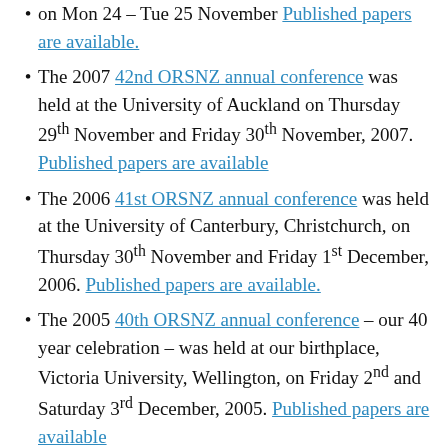on Mon 24 – Tue 25 November. Published papers are available.
The 2007 42nd ORSNZ annual conference was held at the University of Auckland on Thursday 29th November and Friday 30th November, 2007. Published papers are available
The 2006 41st ORSNZ annual conference was held at the University of Canterbury, Christchurch, on Thursday 30th November and Friday 1st December, 2006. Published papers are available.
The 2005 40th ORSNZ annual conference – our 40 year celebration – was held at our birthplace, Victoria University, Wellington, on Friday 2nd and Saturday 3rd December, 2005. Published papers are available